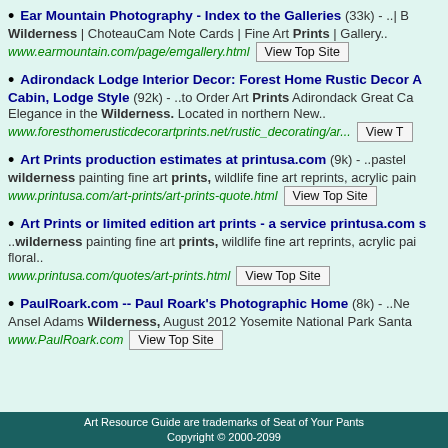Ear Mountain Photography - Index to the Galleries (33k) - ..| B Wilderness | ChoteauCam Note Cards | Fine Art Prints | Gallery.. www.earmountain.com/page/emgallery.html View Top Site
Adirondack Lodge Interior Decor: Forest Home Rustic Decor A Cabin, Lodge Style (92k) - ..to Order Art Prints Adirondack Great Ca Elegance in the Wilderness. Located in northern New.. www.foresthomerusticdecorartprints.net/rustic_decorating/ar... View T
Art Prints production estimates at printusa.com (9k) - ..pastel wilderness painting fine art prints, wildlife fine art reprints, acrylic pain www.printusa.com/art-prints/art-prints-quote.html View Top Site
Art Prints or limited edition art prints - a service printusa.com s ..wilderness painting fine art prints, wildlife fine art reprints, acrylic pai floral.. www.printusa.com/quotes/art-prints.html View Top Site
PaulRoark.com -- Paul Roark's Photographic Home (8k) - ..Ne Ansel Adams Wilderness, August 2012 Yosemite National Park Santa www.PaulRoark.com View Top Site
Art Resource Guide are trademarks of Seat of Your Pants Copyright © 2000-2099